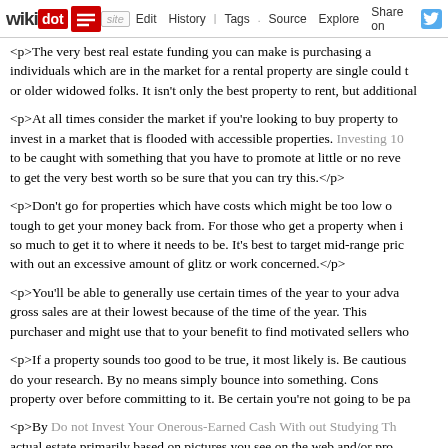wikidot | site | Edit | History | Tags | Source | Explore | Share on [Twitter]
<p>The very best real estate funding you can make is purchasing a... individuals which are in the market for a rental property are single could t... or older widowed folks. It isn't only the best property to rent, but additional...
<p>At all times consider the market if you're looking to buy property to... invest in a market that is flooded with accessible properties. Investing 10... to be caught with something that you have to promote at little or no reve... to get the very best worth so be sure that you can try this.</p>
<p>Don't go for properties which have costs which might be too low o... tough to get your money back from. For those who get a property when i... so much to get it to where it needs to be. It's best to target mid-range pric... with out an excessive amount of glitz or work concerned.</p>
<p>You'll be able to generally use certain times of the year to your adva... gross sales are at their lowest because of the time of the year. This... purchaser and might use that to your benefit to find motivated sellers who...
<p>If a property sounds too good to be true, it most likely is. Be cautious... do your research. By no means simply bounce into something. Cons... property over before committing to it. Be certain you're not going to be pa...
<p>By Do not Invest Your Onerous-Earned Cash With out Studying Th... actual estate primarily based on pictures you see on the web and/or pro... to get caught with one thing which may be useless. The neatest thing... personal eyes before investing any money.</p>
<p>Getting started in real property takes an funding of time. Be sure you... make connections and become a community member. This is an effect...